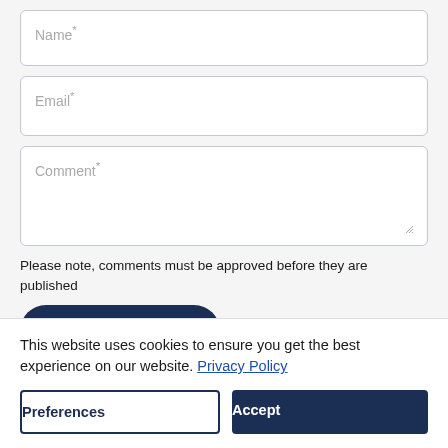Name*
Email*
Comment*
Please note, comments must be approved before they are published
This website uses cookies to ensure you get the best experience on our website. Privacy Policy
Preferences
Accept